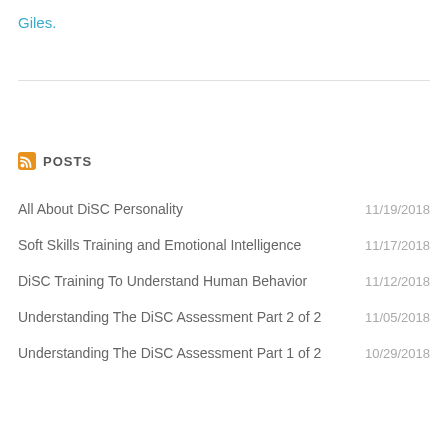Giles.
POSTS
All About DiSC Personality   11/19/2018
Soft Skills Training and Emotional Intelligence   11/17/2018
DiSC Training To Understand Human Behavior   11/12/2018
Understanding The DiSC Assessment Part 2 of 2   11/05/2018
Understanding The DiSC Assessment Part 1 of 2   10/29/2018